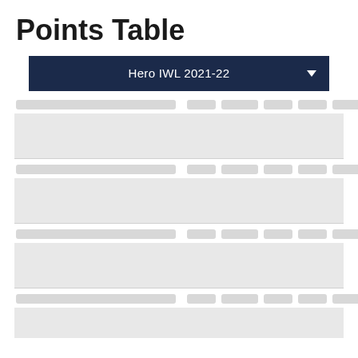Points Table
| Hero IWL 2021-22 |
| --- |